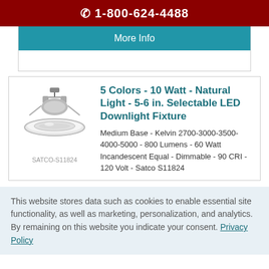1-800-624-4488
More Info
5 Colors - 10 Watt - Natural Light - 5-6 in. Selectable LED Downlight Fixture
Medium Base - Kelvin 2700-3000-3500-4000-5000 - 800 Lumens - 60 Watt Incandescent Equal - Dimmable - 90 CRI - 120 Volt - Satco S11824
SATCO-S11824
This website stores data such as cookies to enable essential site functionality, as well as marketing, personalization, and analytics. By remaining on this website you indicate your consent. Privacy Policy